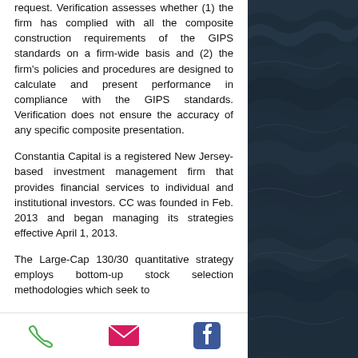request. Verification assesses whether (1) the firm has complied with all the composite construction requirements of the GIPS standards on a firm-wide basis and (2) the firm's policies and procedures are designed to calculate and present performance in compliance with the GIPS standards. Verification does not ensure the accuracy of any specific composite presentation.
Constantia Capital is a registered New Jersey-based investment management firm that provides financial services to individual and institutional investors. CC was founded in Feb. 2013 and began managing its strategies effective April 1, 2013.
The Large-Cap 130/30 quantitative strategy employs bottom-up stock selection methodologies which seek to
[Figure (other): Dark ocean water background image on right side of page]